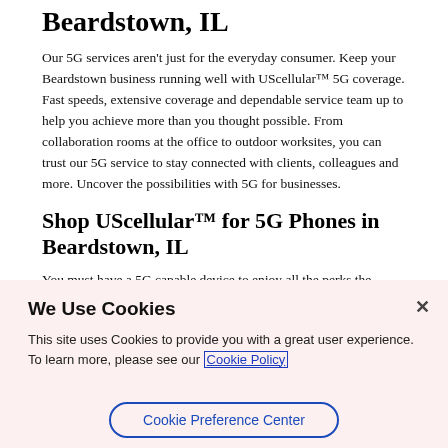Beardstown, IL
Our 5G services aren't just for the everyday consumer. Keep your Beardstown business running well with UScellular™ 5G coverage. Fast speeds, extensive coverage and dependable service team up to help you achieve more than you thought possible. From collaboration rooms at the office to outdoor worksites, you can trust our 5G service to stay connected with clients, colleagues and more. Uncover the possibilities with 5G for businesses.
Shop UScellular™ for 5G Phones in Beardstown, IL
You must have a 5G capable device to enjoy all the perks the service has to offer. Luckily, UScellular™ has fantastic deals on the latest 5G phones and tablets. From the Google Pixel to the Samsung Galaxy Tab, you'll find the perfect device to bring you 5G. Visit your local UScellular™ in Beardstown, IL today to look at phones and get more information about our 5G network solution available in the Beardstown, IL area. Ask about Beardstown 5G coverage.
We Use Cookies
This site uses Cookies to provide you with a great user experience. To learn more, please see our Cookie Policy
Cookie Preference Center